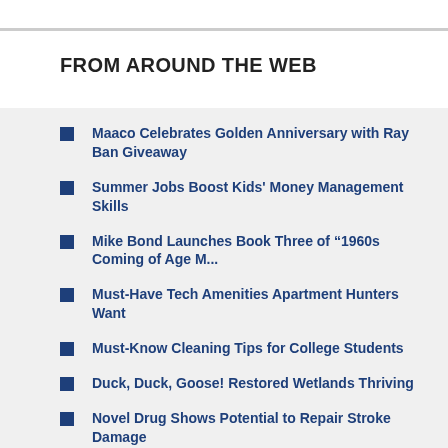FROM AROUND THE WEB
Maaco Celebrates Golden Anniversary with Ray Ban Giveaway
Summer Jobs Boost Kids' Money Management Skills
Mike Bond Launches Book Three of “1960s Coming of Age M...
Must-Have Tech Amenities Apartment Hunters Want
Must-Know Cleaning Tips for College Students
Duck, Duck, Goose! Restored Wetlands Thriving
Novel Drug Shows Potential to Repair Stroke Damage
The 32nd Qingdao Laoshan